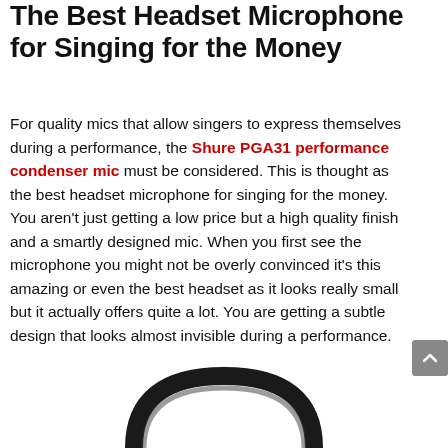The Best Headset Microphone for Singing for the Money
For quality mics that allow singers to express themselves during a performance, the Shure PGA31 performance condenser mic must be considered. This is thought as the best headset microphone for singing for the money. You aren't just getting a low price but a high quality finish and a smartly designed mic. When you first see the microphone you might not be overly convinced it's this amazing or even the best headset as it looks really small but it actually offers quite a lot. You are getting a subtle design that looks almost invisible during a performance.
[Figure (photo): Partial view of a black headset microphone arc/band visible at the bottom of the page]